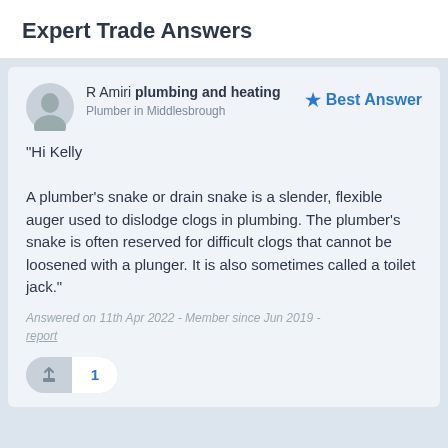Expert Trade Answers
R Amiri plumbing and heating
Plumber in Middlesbrough
Best Answer
"Hi Kelly

A plumber's snake or drain snake is a slender, flexible auger used to dislodge clogs in plumbing. The plumber's snake is often reserved for difficult clogs that cannot be loosened with a plunger. It is also sometimes called a toilet jack."
Answered on 11th Apr 2022 - Member since Jun 2019 - report